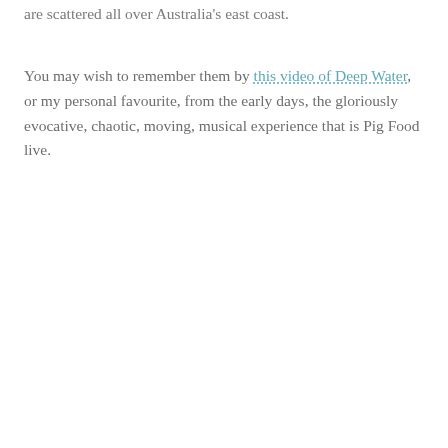are scattered all over Australia's east coast.
You may wish to remember them by this video of Deep Water, or my personal favourite, from the early days, the gloriously evocative, chaotic, moving, musical experience that is Pig Food live.